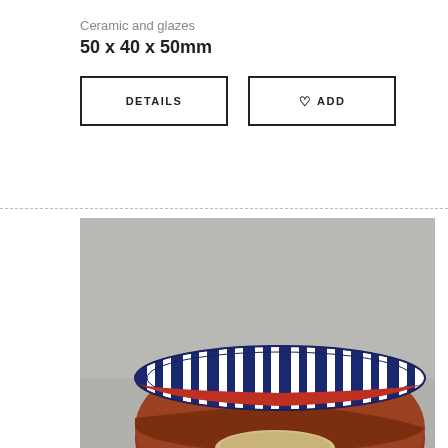Ceramic and glazes
50 x 40 x 50mm
[Figure (photo): A ceramic bowl with blue and white striped glaze pattern on the rim and red/brown glaze on the body, photographed from a side angle against a gray background.]